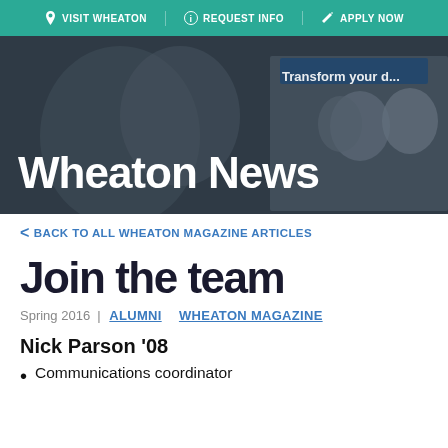VISIT WHEATON | REQUEST INFO | APPLY NOW
[Figure (photo): Hero banner photo showing students/campus with 'Transform your...' text overlay and 'Wheaton News' title in white]
Wheaton News
< BACK TO ALL WHEATON MAGAZINE ARTICLES
Join the team
Spring 2016  |  ALUMNI   WHEATON MAGAZINE
Nick Parson '08
Communications coordinator